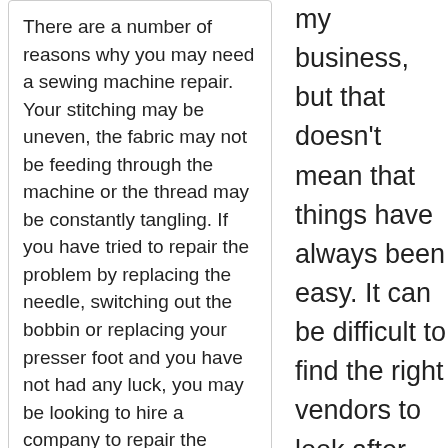There are a number of reasons why you may need a sewing machine repair. Your stitching may be uneven, the fabric may not be feeding through the machine or the thread may be constantly tangling. If you have tried to repair the problem by replacing the needle, switching out the bobbin or replacing your presser foot and you have not had any luck, you may be looking to hire a company to repair the sewing machine for you. Read More →
Let's Keep Things Safe: How To
my business, but that doesn't mean that things have always been easy. It can be difficult to find the right vendors to look after different areas, and it is even more difficult to keep all of